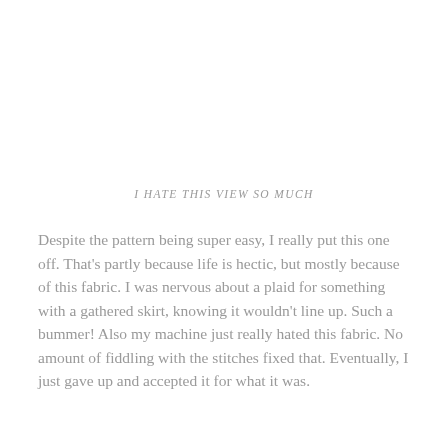I HATE THIS VIEW SO MUCH
Despite the pattern being super easy, I really put this one off. That's partly because life is hectic, but mostly because of this fabric. I was nervous about a plaid for something with a gathered skirt, knowing it wouldn't line up. Such a bummer! Also my machine just really hated this fabric. No amount of fiddling with the stitches fixed that. Eventually, I just gave up and accepted it for what it was.